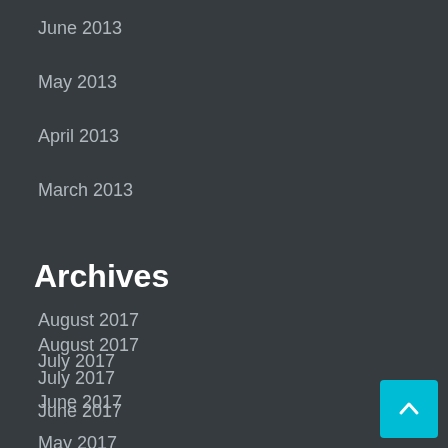June 2013
May 2013
April 2013
March 2013
Archives
August 2017
July 2017
June 2017
May 2017
April 2017
March 2017